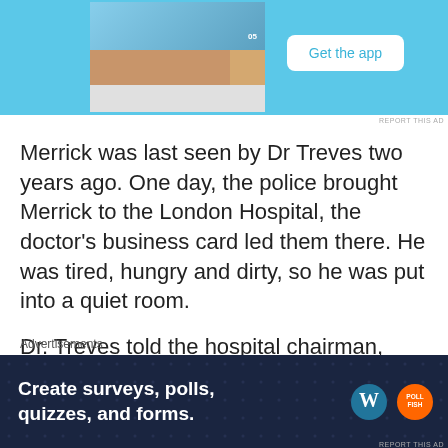[Figure (screenshot): App advertisement banner with blue background, phone screenshot on left showing photo collage app, and 'Get the app' button on right]
Merrick was last seen by Dr Treves two years ago. One day, the police brought Merrick to the London Hospital, the doctor's business card led them there. He was tired, hungry and dirty, so he was put into a quiet room.
Dr. Treves told the hospital chairman, Mr Carr Gomm about Merrick. After listening carefully, Mr Gomm wrote a letter to the editor of The Times
Advertisements
[Figure (screenshot): Bottom advertisement banner: dark navy background with white bold text 'Create surveys, polls, quizzes, and forms.' with WordPress and Pollfish logos on the right]